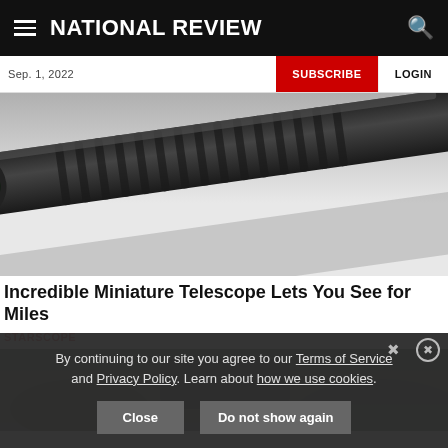NATIONAL REVIEW
Sep. 1, 2022
SUBSCRIBE  LOGIN
[Figure (photo): Close-up of a black miniature telescope/monocular with green lens element, lying on a reflective white surface]
Incredible Miniature Telescope Lets You See for Miles
STARSCOPE
[Figure (photo): Outdoor scene with person holding monocular, partial view with dark overlay from cookie consent banner]
By continuing to our site you agree to our Terms of Service and Privacy Policy. Learn about how we use cookies.
Close   Do not show again